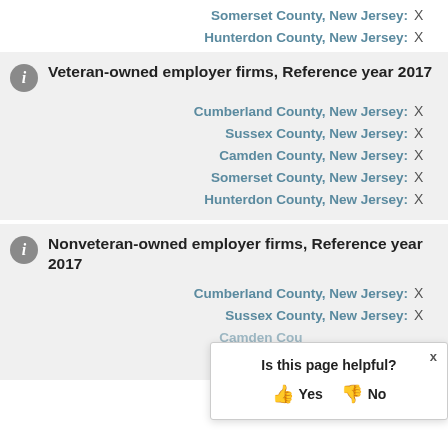Somerset County, New Jersey: X
Hunterdon County, New Jersey: X
Veteran-owned employer firms, Reference year 2017
Cumberland County, New Jersey: X
Sussex County, New Jersey: X
Camden County, New Jersey: X
Somerset County, New Jersey: X
Hunterdon County, New Jersey: X
Nonveteran-owned employer firms, Reference year 2017
Cumberland County, New Jersey: X
Sussex County, New Jersey: X
Camden County, New Jersey: X
Somerset County, New Jersey: X